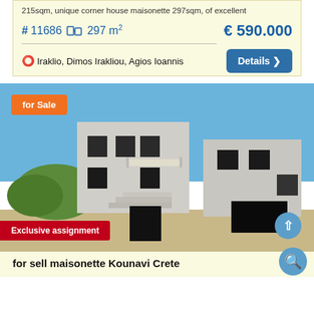215sqm, unique corner house maisonette 297sqm, of excellent
#11686  297 m²    € 590.000
Iraklio, Dimos Irakliou, Agios Ioannis
Details ›
[Figure (photo): Exterior photo of an unfinished concrete maisonette building under blue sky, with stairs visible and a 'for Sale' orange badge and 'Exclusive assignment' red badge overlay]
for Sale
Exclusive assignment
for sell maisonette Kounavi Crete